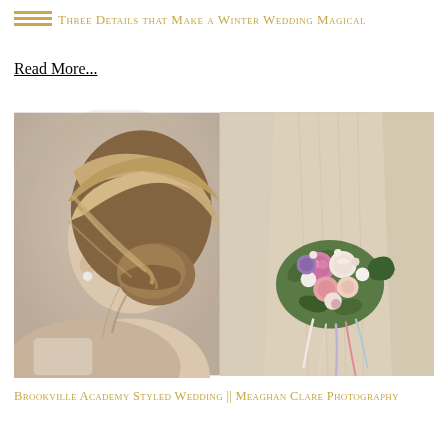Three Details that Make a Winter Wedding Magical
Read More...
[Figure (photo): Left: close-up of a woman's elegant updo hairstyle with blonde highlights, pearl earring visible, soft background. Right: woman in a champagne/beige flowing dress holding a bouquet of pink, purple, and white flowers with ribbons, standing against a stone wall.]
Brookville Academy Styled Wedding || Meaghan Clare Photography